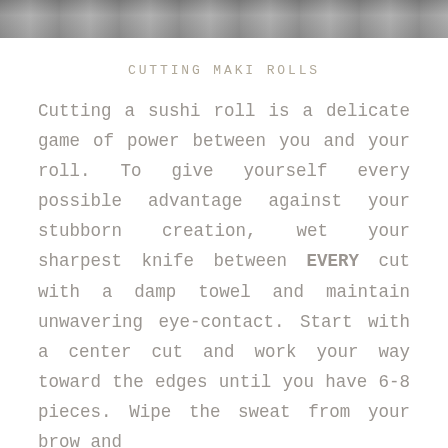[Figure (photo): Partial photo strip at top of page, showing a blurred/cropped image, likely hands or food preparation scene.]
CUTTING MAKI ROLLS
Cutting a sushi roll is a delicate game of power between you and your roll. To give yourself every possible advantage against your stubborn creation, wet your sharpest knife between EVERY cut with a damp towel and maintain unwavering eye-contact. Start with a center cut and work your way toward the edges until you have 6-8 pieces. Wipe the sweat from your brow and